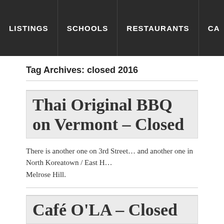LISTINGS | SCHOOLS | RESTAURANTS | CA
Tag Archives: closed 2016
Thai Original BBQ on Vermont – Closed
There is another one on 3rd Street… and another one in North Koreatown / East H… Melrose Hill.
Café O'LA – Closed
Opened in 2014 in the space formerly occupied by Cafe Patio. Coffee, green-tea…